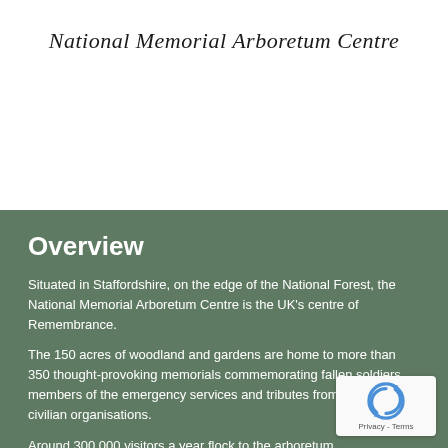National Memorial Arboretum Centre
Overview
Situated in Staffordshire, on the edge of the National Forest, the National Memorial Arboretum Centre is the UK's centre of Remembrance.
The 150 acres of woodland and gardens are home to more than 350 thought-provoking memorials commemorating fallen soldiers, members of the emergency services and tributes from charity and civilian organisations.
Around 300,000 visitors a year flock to the arboretum,